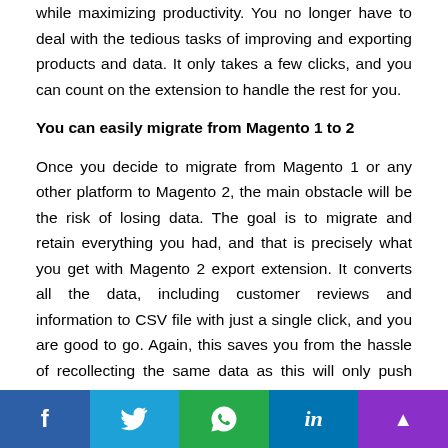while maximizing productivity. You no longer have to deal with the tedious tasks of improving and exporting products and data. It only takes a few clicks, and you can count on the extension to handle the rest for you.
You can easily migrate from Magento 1 to 2
Once you decide to migrate from Magento 1 or any other platform to Magento 2, the main obstacle will be the risk of losing data. The goal is to migrate and retain everything you had, and that is precisely what you get with Magento 2 export extension. It converts all the data, including customer reviews and information to CSV file with just a single click, and you are good to go. Again, this saves you from the hassle of recollecting the same data as this will only push your business beyond or even ruin your reputation.
[Figure (infographic): Social sharing bar with Facebook, Twitter, WhatsApp, LinkedIn, and an upvote/share button]